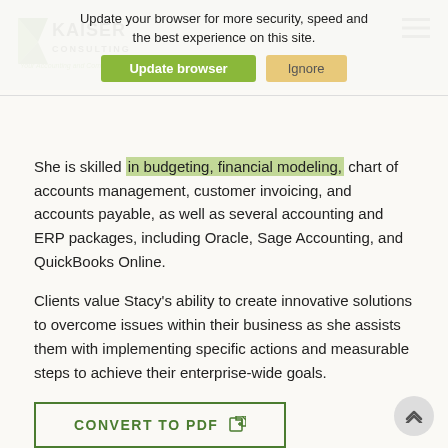Kaiser Consulting — Your Accounting and Compliance Partner
She is skilled in budgeting, financial modeling, chart of accounts management, customer invoicing, and accounts payable, as well as several accounting and ERP packages, including Oracle, Sage Accounting, and QuickBooks Online.
Clients value Stacy's ability to create innovative solutions to overcome issues within their business as she assists them with implementing specific actions and measurable steps to achieve their enterprise-wide goals.
CONVERT TO PDF
INDUSTRY EXPERIENCE
Construction, Consumer Products, Food & Beverage, Franchising, Healthcare, Manufacturing, Restaurant, Retail,